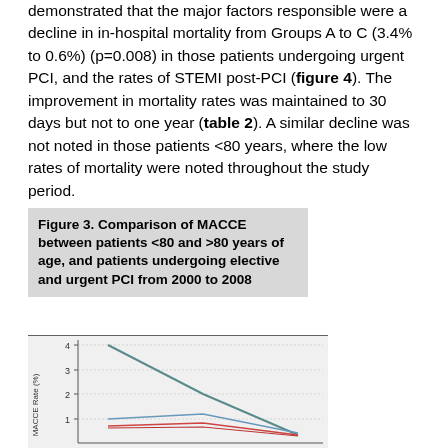demonstrated that the major factors responsible were a decline in in-hospital mortality from Groups A to C (3.4% to 0.6%) (p=0.008) in those patients undergoing urgent PCI, and the rates of STEMI post-PCI (figure 4). The improvement in mortality rates was maintained to 30 days but not to one year (table 2). A similar decline was not noted in those patients <80 years, where the low rates of mortality were noted throughout the study period.
Figure 3. Comparison of MACCE between patients <80 and >80 years of age, and patients undergoing elective and urgent PCI from 2000 to 2008
[Figure (line-chart): Line chart showing MACCE rates (%) over time periods (Groups A to C), with multiple lines representing different patient groups: >80 years urgent (declining steeply from ~4 to ~0.8), <80 years urgent (relatively flat ~1 to ~0.8), >80 years elective (flat ~0.8-0.9), <80 years elective (flat ~0.6-0.7). Y-axis shows values 1, 2, 3, 4.]